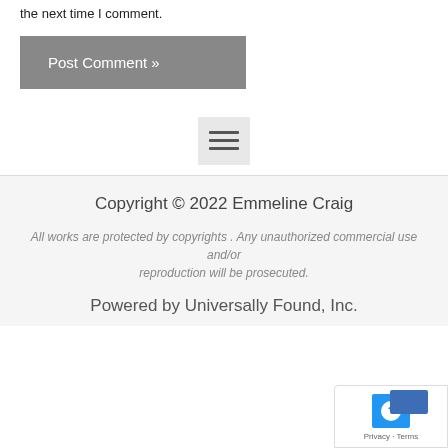Save my name, email, and website in this browser for the next time I comment.
[Figure (other): Post Comment button with gray background and white text reading 'Post Comment »']
[Figure (other): Hamburger menu icon (three horizontal lines) in a light gray box]
Copyright © 2022 Emmeline Craig
All works are protected by copyrights . Any unauthorized commercial use and/or reproduction will be prosecuted.
Powered by Universally Found, Inc.
[Figure (other): GDPR/privacy widget in bottom right corner with blue camera icon, arrow icon, and Privacy - Terms text]